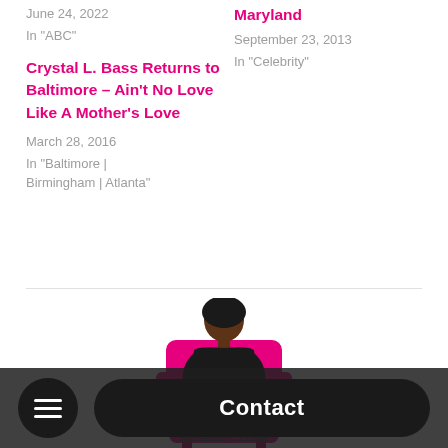June 24, 2022
In "ABC"
Maryland
September 23, 2013
In "Celebrity"
Crystal L. Bass Returns to Baltimore – Ain't No Love Like A Mother's Love
March 28, 2016
In "Baltimore | Birmingham | Atlanta"
[Figure (photo): Woman in black dress seated on a pink armchair, positioned in the lower center of the page]
Kimberly West